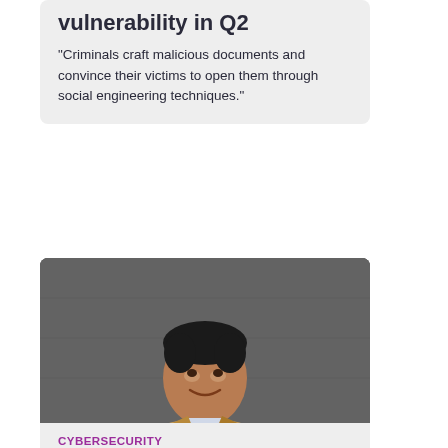vulnerability in Q2
"Criminals craft malicious documents and convince their victims to open them through social engineering techniques."
[Figure (photo): Portrait photo of a man in a tan/beige blazer and light blue shirt, standing in front of a dark grey wall, smiling]
CYBERSECURITY
CISOs need to consider a risk-based cybersecurity